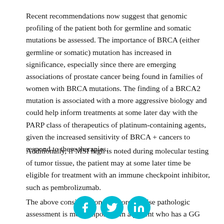Recent recommendations now suggest that genomic profiling of the patient both for germline and somatic mutations be assessed. The importance of BRCA (either germline or somatic) mutation has increased in significance, especially since there are emerging associations of prostate cancer being found in families of women with BRCA mutations. The finding of a BRCA2 mutation is associated with a more aggressive biology and could help inform treatments at some later day with the PARP class of therapeutics of platinum-containing agents, given the increased sensitivity of BRCA + cancers to respond to these therapies.
Additionally, if MSI high is noted during molecular testing of tumor tissue, the patient may at some later time be eligible for treatment with an immune checkpoint inhibitor, such as pembrolizumab.
The above considerations of more precise pathologic assessment is more important in a patient who has a GG